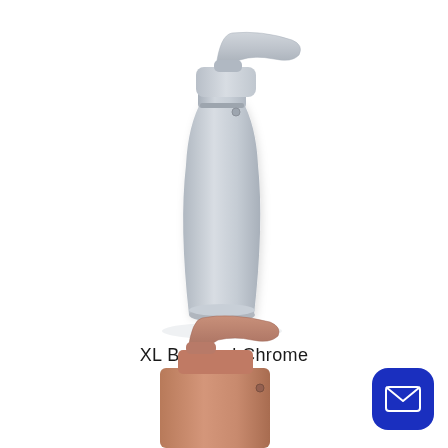[Figure (illustration): A tall single-handle basin faucet rendered in brushed chrome/silver finish, shown in side profile view against a white background.]
XL Brushed Chrome
AutoCAD
[Figure (illustration): A shorter single-handle basin faucet rendered in rose gold/copper finish, shown in side profile view, partially cropped at the bottom of the page.]
[Figure (other): Dark blue rounded square button with a white envelope/mail icon in the center, located in the bottom-right corner.]